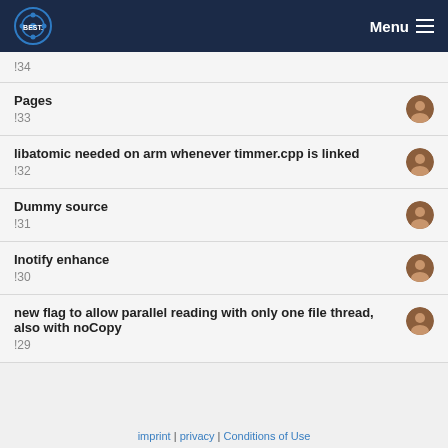Menu
!34
Pages
!33
libatomic needed on arm whenever timmer.cpp is linked
!32
Dummy source
!31
Inotify enhance
!30
new flag to allow parallel reading with only one file thread, also with noCopy
!29
imprint | privacy | Conditions of Use